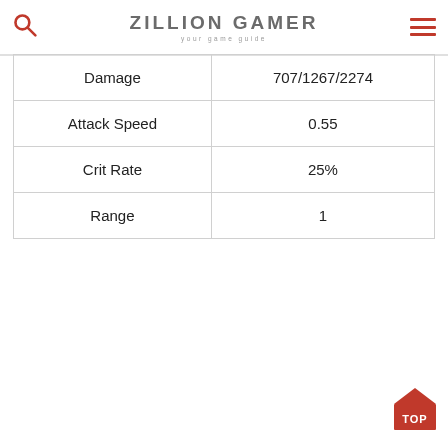ZILLION GAMER your game guide
| Damage | 707/1267/2274 |
| --- | --- |
| Attack Speed | 0.55 |
| Crit Rate | 25% |
| Range | 1 |